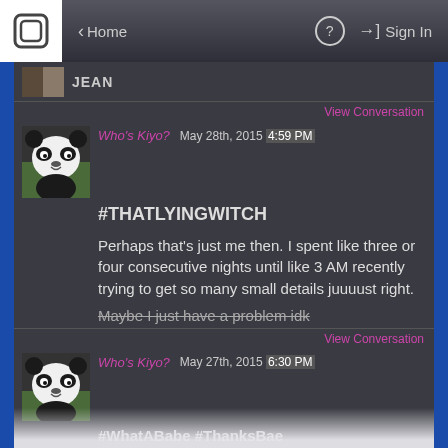Home | ? | Sign In
JEAN
View Conversation
Who's Kiyo?   May 28th, 2015  4:59 PM
#THATLYINGWITCH
Perhaps that's just me then. I spent like three or four consecutive nights until like 3 AM recently trying to get so many small details juuuust right.
Maybe I just have a problem idk
View Conversation
Who's Kiyo?   May 27th, 2015  6:30 PM
#WhatABabe #ThanksBae #SomeoneFinallyBelievesInMeBesidesMyMom